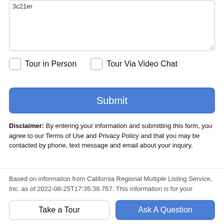[Figure (screenshot): Text area input box with partial text '3c21er' visible at top, with resize handle at bottom right]
Tour in Person
Tour Via Video Chat
Submit
Disclaimer: By entering your information and submitting this form, you agree to our Terms of Use and Privacy Policy and that you may be contacted by phone, text message and email about your inquiry.
Based on information from California Regional Multiple Listing Service, Inc. as of 2022-08-25T17:35:38.757. This information is for your personal, non-commercial use and may not be used for any purpose other than to identify prospective properties you may
Take a Tour
Ask A Question